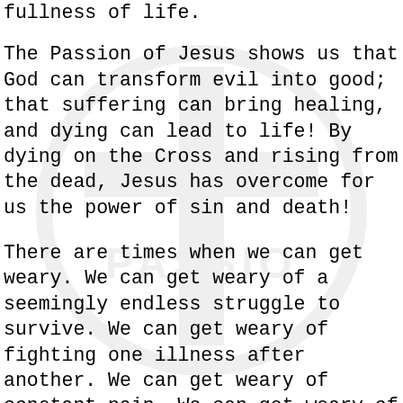fullness of life.
The Passion of Jesus shows us that God can transform evil into good; that suffering can bring healing, and dying can lead to life! By dying on the Cross and rising from the dead, Jesus has overcome for us the power of sin and death!
There are times when we can get weary. We can get weary of a seemingly endless struggle to survive. We can get weary of fighting one illness after another. We can get weary of constant pain. We can get weary of the injustice and violence in our world. The Passion of Jesus may not offer some miraculous